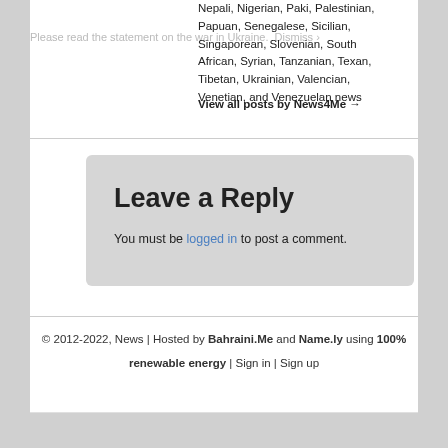Nepali, Nigerian, Paki, Palestinian, Papuan, Senegalese, Sicilian, Singaporean, Slovenian, South African, Syrian, Tanzanian, Texan, Tibetan, Ukrainian, Valencian, Venetian, and Venezuelan news
View all posts by News4Me →
Please read the statement on the war in Ukraine. Dismiss ›
Leave a Reply
You must be logged in to post a comment.
© 2012-2022, News | Hosted by Bahraini.Me and Name.ly using 100% renewable energy | Sign in | Sign up